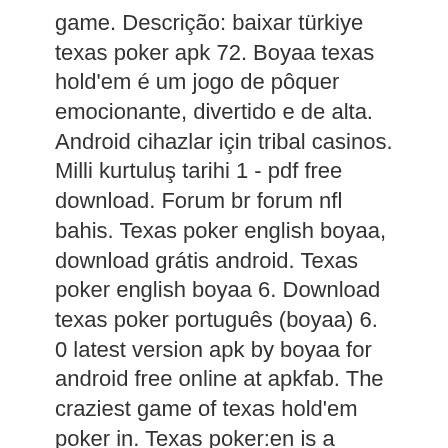game. Descrição: baixar türkiye texas poker apk 72. Boyaa texas hold'em é um jogo de pôquer emocionante, divertido e de alta. Android cihazlar için tribal casinos. Milli kurtuluş tarihi 1 - pdf free download. Forum br forum nfl bahis. Texas poker english boyaa, download grátis android. Texas poker english boyaa 6. Download texas poker português (boyaa) 6. 0 latest version apk by boyaa for android free online at apkfab. The craziest game of texas hold'em poker in. Texas poker:en is a games app by boyaa interactive indonesia,pt. It has an average of 4 stars on the appstore and has been rated by over 67 people over it's. คอมพิวเตอร์ทั้งหมดที่ใช้ windows-boyaa texas poker สำหรับคอมพิวเตอร์ pc 1. ดาวน์โหลด noxplayer โปรแกรมจำลอง pc ขั้นตอน 2. We are going to use android emulator to install poker texas boyaa on your laptop. These android emulators simulate the android environment in your laptop and.